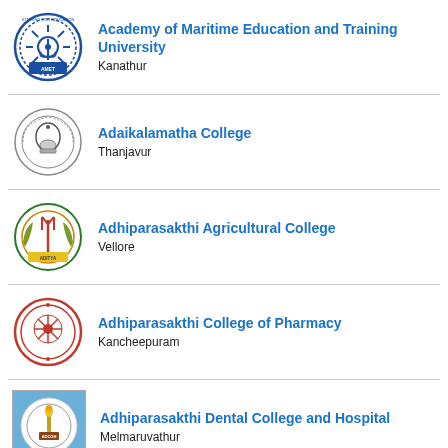Academy of Maritime Education and Training University
Kanathur
Adaikalamatha College
Thanjavur
Adhiparasakthi Agricultural College
Vellore
Adhiparasakthi College of Pharmacy
Kancheepuram
Adhiparasakthi Dental College and Hospital
Melmaruvathur